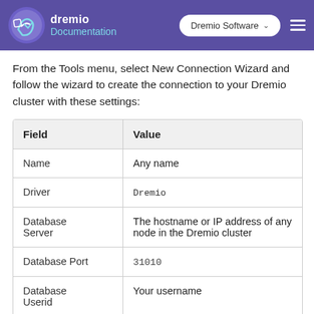dremio Documentation — Dremio Software
From the Tools menu, select New Connection Wizard and follow the wizard to create the connection to your Dremio cluster with these settings:
| Field | Value |
| --- | --- |
| Name | Any name |
| Driver | Dremio |
| Database Server | The hostname or IP address of any node in the Dremio cluster |
| Database Port | 31010 |
| Database Userid | Your username |
| Database |  |